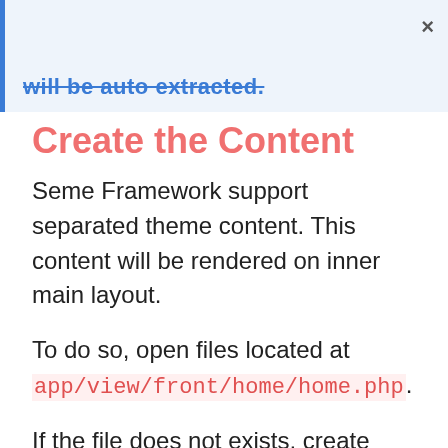will be auto extracted.
Create the Content
Seme Framework support separated theme content. This content will be rendered on inner main layout.
To do so, open files located at app/view/front/home/home.php.
If the file does not exists, create one.
And then, put this code on it